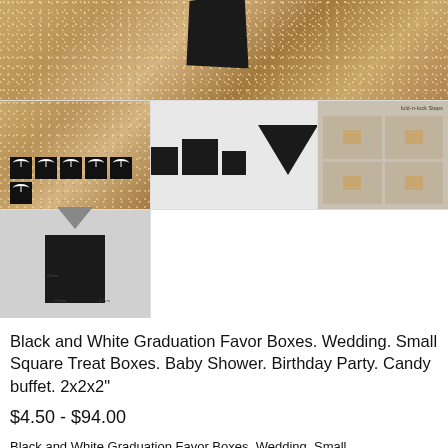[Figure (photo): Product images collage: top image shows gold/bronze sequin fabric with a black gift box; middle row shows black favor boxes with white ribbons on sequin background, black boxes arrangement on gray background, and step-by-step assembly diagram on tan background; bottom row shows a single black gift box with gray ribbon and dimension labels.]
Black and White Graduation Favor Boxes. Wedding. Small Square Treat Boxes. Baby Shower. Birthday Party. Candy buffet. 2x2x2"
$4.50 - $94.00
Black and White Graduation Favor Boxes. Wedding. Small